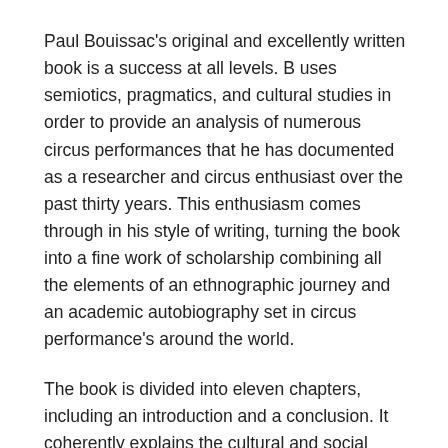Paul Bouissac's original and excellently written book is a success at all levels. B uses semiotics, pragmatics, and cultural studies in order to provide an analysis of numerous circus performances that he has documented as a researcher and circus enthusiast over the past thirty years. This enthusiasm comes through in his style of writing, turning the book into a fine work of scholarship combining all the elements of an ethnographic journey and an academic autobiography set in circus performance's around the world.
The book is divided into eleven chapters, including an introduction and a conclusion. It coherently explains the cultural and social origins of the circus, its cognitive and emotional dimensions, the central role that animals and cultural artifacts (e.g. the bicycle) play in circus performances, the complex synchronization in acrobatics (e.g. the pyramid and the wheel), the logic and biosemiotics of clowns' faces, and the marketing processes of involved with circus